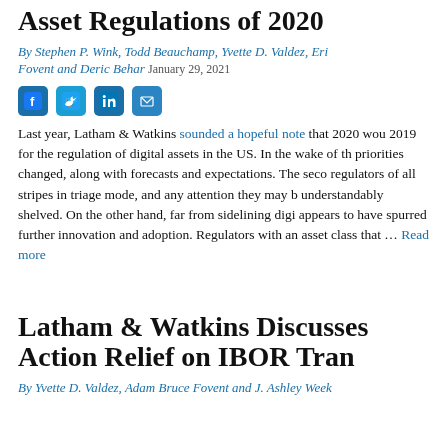Asset Regulations of 2020
By Stephen P. Wink, Todd Beauchamp, Yvette D. Valdez, Eric Fovent and Deric Behar   January 29, 2021
[Figure (other): Social media sharing icons: Facebook, Twitter, LinkedIn, Email]
Last year, Latham & Watkins sounded a hopeful note that 2020 wou... 2019 for the regulation of digital assets in the US. In the wake of th... priorities changed, along with forecasts and expectations. The seco... regulators of all stripes in triage mode, and any attention they may b... understandably shelved. On the other hand, far from sidelining digi... appears to have spurred further innovation and adoption. Regulators... with an asset class that … Read more
Latham & Watkins Discusses Action Relief on IBOR Tran...
By Yvette D. Valdez, Adam Bruce Fovent and J. Ashley Week...